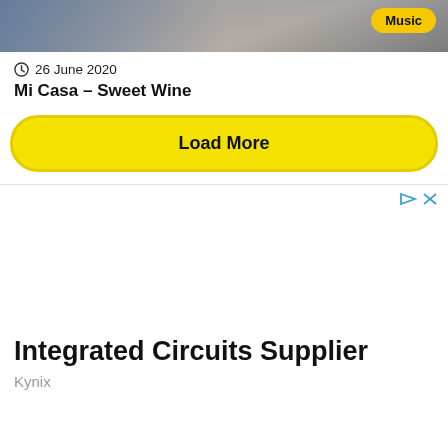[Figure (photo): Top portion of an article thumbnail image showing people, partially cropped, with a yellow 'Music' tag badge in the top-right corner.]
26 June 2020
Mi Casa – Sweet Wine
Load More
[Figure (other): Advertisement area with ad control icons (play and close) in top-right corner, and an ad for Integrated Circuits Supplier by Kynix at the bottom.]
Integrated Circuits Supplier
Kynix